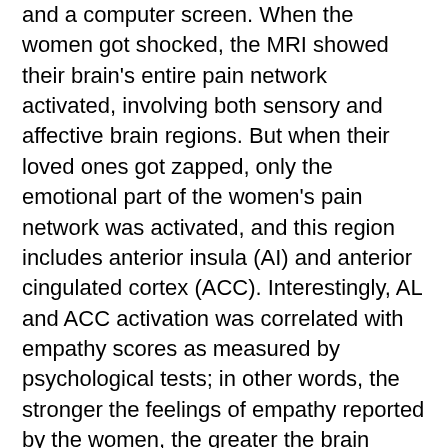and a computer screen. When the women got shocked, the MRI showed their brain's entire pain network activated, involving both sensory and affective brain regions. But when their loved ones got zapped, only the emotional part of the women's pain network was activated, and this region includes anterior insula (AI) and anterior cingulated cortex (ACC). Interestingly, AL and ACC activation was correlated with empathy scores as measured by psychological tests; in other words, the stronger the feelings of empathy reported by the women, the greater the brain activity in their context-dependent pain regions.
This research demonstrates the neural substrate of empathy; however, automatic empathic reactions may be modulated by relational closeness and the empathetic nature of individuals.
Singer suggests that empathy is probably hardwired, because it operates in an autonomic neural function...